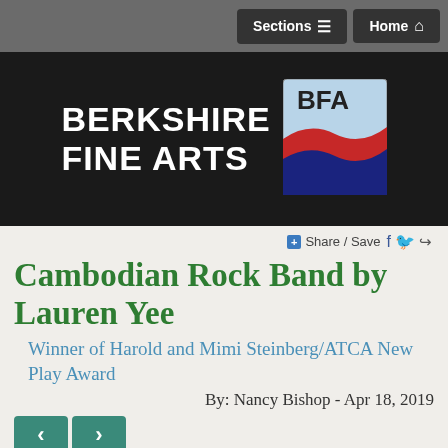Sections  Home
[Figure (logo): Berkshire Fine Arts logo with BFA badge showing red, dark blue, and green wave design on light blue background]
Share / Save
Cambodian Rock Band by Lauren Yee
Winner of Harold and Mimi Steinberg/ATCA New Play Award
By: Nancy Bishop - Apr 18, 2019